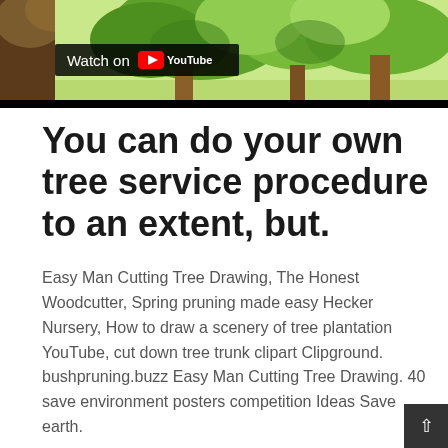[Figure (screenshot): YouTube video thumbnail showing a tree illustration with a 'Watch on YouTube' overlay button. The background shows a colorful hand-drawn illustration of trees with green foliage.]
You can do your own tree service procedure to an extent, but.
Easy Man Cutting Tree Drawing, The Honest Woodcutter, Spring pruning made easy Hecker Nursery, How to draw a scenery of tree plantation YouTube, cut down tree trunk clipart Clipground. bushpruning.buzz Easy Man Cutting Tree Drawing. 40 save environment posters competition Ideas Save earth.
tree or shrub in the public right of way, park areas or other public property, or cause such an act to be done by others, without permit for said work from the Tree Warden. Said requirement